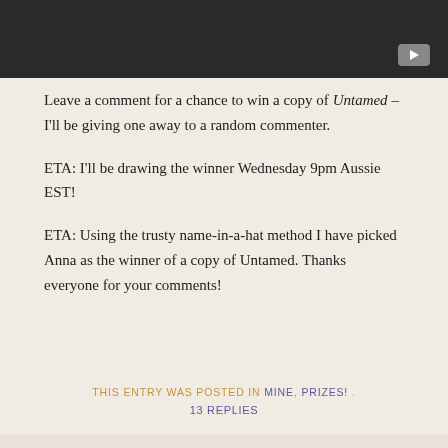[Figure (screenshot): Dark/black video player bar with a YouTube-style play button in the bottom right corner]
Leave a comment for a chance to win a copy of Untamed – I'll be giving one away to a random commenter.
ETA: I'll be drawing the winner Wednesday 9pm Aussie EST!
ETA: Using the trusty name-in-a-hat method I have picked Anna as the winner of a copy of Untamed. Thanks everyone for your comments!
THIS ENTRY WAS POSTED IN MINE, PRIZES! .
13 REPLIES